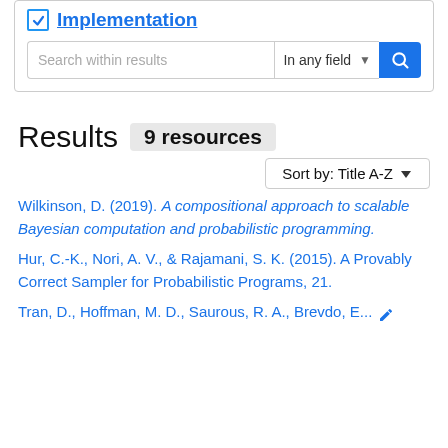Implementation
Search within results | In any field
Results 9 resources
Sort by: Title A-Z
Wilkinson, D. (2019). A compositional approach to scalable Bayesian computation and probabilistic programming.
Hur, C.-K., Nori, A. V., & Rajamani, S. K. (2015). A Provably Correct Sampler for Probabilistic Programs, 21.
Tran, D., Hoffman, M. D., Saurous, R. A., Brevdo, E...